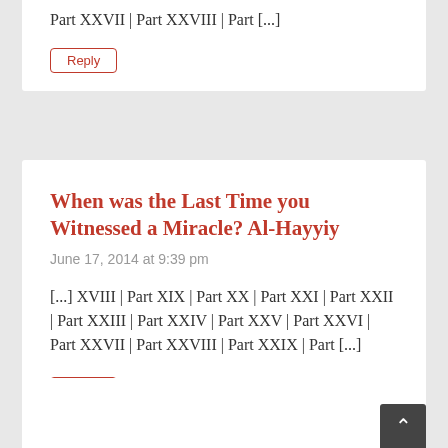Part XXVII | Part XXVIII | Part [...]
Reply
When was the Last Time you Witnessed a Miracle? Al-Hayyiy
June 17, 2014 at 9:39 pm
[...] XVIII | Part XIX | Part XX | Part XXI | Part XXII | Part XXIII | Part XXIV | Part XXV | Part XXVI | Part XXVII | Part XXVIII | Part XXIX | Part [...]
Reply